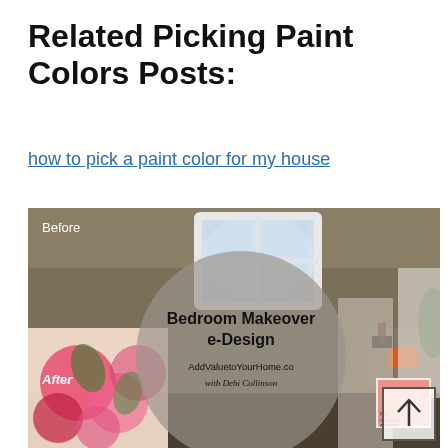Related Picking Paint Colors Posts:
how to pick a paint color for my house
[Figure (photo): Before and after composite bedroom photo with circular overlay showing 'Bedroom Makeover e-Design' with AddValuetoYourHome.co and 'with Debi Collinson'. Before label in top left, After label in bottom left, scroll-to-top arrow box in bottom right.]